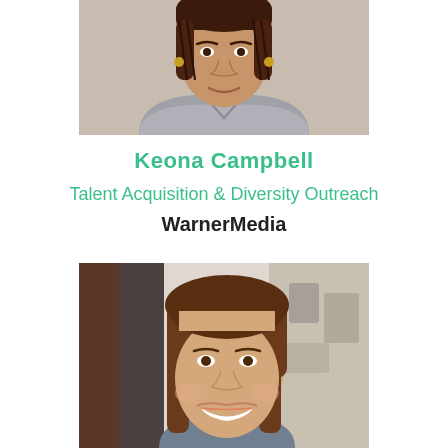[Figure (photo): Headshot of Keona Campbell, a woman with braided hair wearing a grey sparkly top, cropped from shoulders up against a light background.]
Keona Campbell
Talent Acquisition & Diversity Outreach
WarnerMedia
[Figure (photo): Headshot of a woman with straight brown hair, smiling broadly, in an indoor setting with blurred background.]